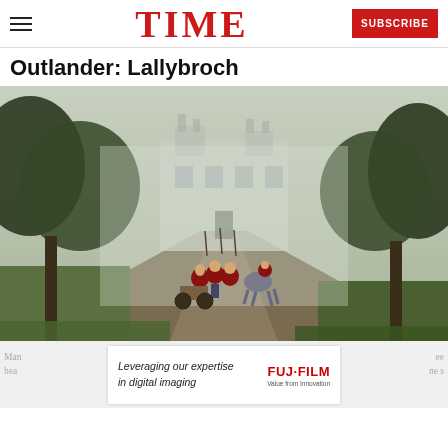TIME
Outlander: Lallybroch
[Figure (photo): Soldiers in red coats with a horse and cart approaching a misty Scottish manor house through a tree-lined path]
[Figure (other): Fujifilm advertisement banner: 'Leveraging our expertise in digital imaging' with FujiFilm Value from Innovation logo]